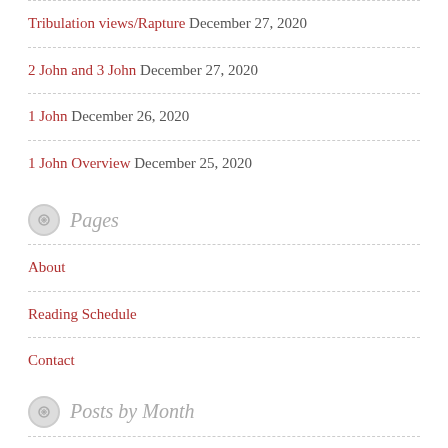Tribulation views/Rapture December 27, 2020
2 John and 3 John December 27, 2020
1 John December 26, 2020
1 John Overview December 25, 2020
Pages
About
Reading Schedule
Contact
Posts by Month
December 2020 (57)